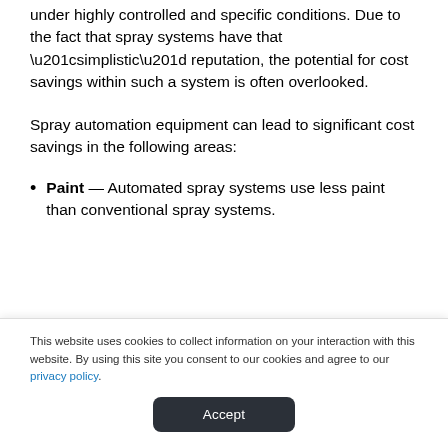under highly controlled and specific conditions. Due to the fact that spray systems have that “simplistic” reputation, the potential for cost savings within such a system is often overlooked.
Spray automation equipment can lead to significant cost savings in the following areas:
Paint — Automated spray systems use less paint than conventional spray systems.
[partial line faded]
This website uses cookies to collect information on your interaction with this website. By using this site you consent to our cookies and agree to our privacy policy.
Accept